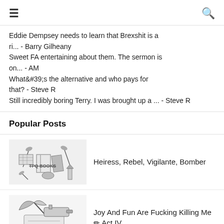≡  🔍
Eddie Dempsey needs to learn that Brexshit is a ri... - Barry Gilheany
Sweet FA entertaining about them. The sermon is on... - AM
What&#39;s the alternative and who pays for that? - Steve R
Still incredibly boring Terry. I was brought up a ... - Steve R
Popular Posts
Heiress, Rebel, Vigilante, Bomber
Joy And Fun Are Fucking Killing Me ☞ Act IV